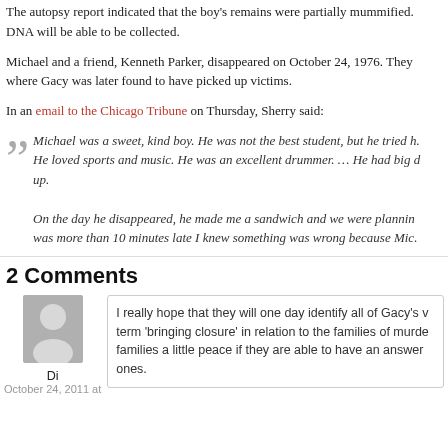The autopsy report indicated that the boy's remains were partially mummified. DNA will be able to be collected.
Michael and a friend, Kenneth Parker, disappeared on October 24, 1976. They where Gacy was later found to have picked up victims.
In an email to the Chicago Tribune on Thursday, Sherry said:
Michael was a sweet, kind boy. He was not the best student, but he tried h. He loved sports and music. He was an excellent drummer. … He had big dreams when he grew up.
On the day he disappeared, he made me a sandwich and we were planning. was more than 10 minutes late I knew something was wrong because Mic.
2 Comments
[Figure (illustration): User avatar placeholder image showing a generic person silhouette in gray]
Di
October 24, 2011 at
I really hope that they will one day identify all of Gacy's v term 'bringing closure' in relation to the families of murde families a little peace if they are able to have an answer ones.